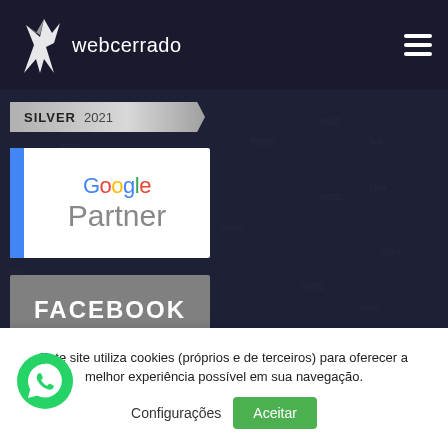webcerrado
[Figure (logo): Silver 2021 badge/ribbon]
[Figure (logo): Google Partner badge with blue bar and Google colored text]
[Figure (logo): Facebook Marketing Partner badge]
Este site utiliza cookies (próprios e de terceiros) para oferecer a melhor experiência possível em sua navegação.
Configurações
Aceitar